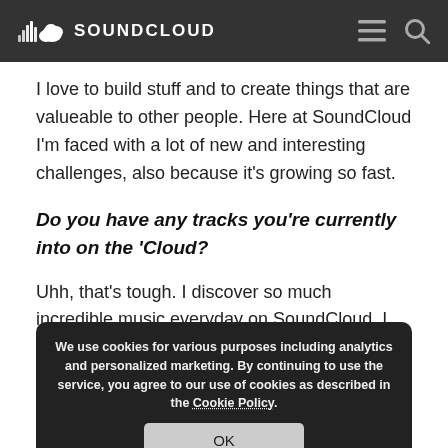SOUNDCLOUD
I love to build stuff and to create things that are valueable to other people. Here at SoundCloud I'm faced with a lot of new and interesting challenges, also because it's growing so fast.
Do you have any tracks you're currently into on the 'Cloud?
We use cookies for various purposes including analytics and personalized marketing. By continuing to use the service, you agree to our use of cookies as described in the Cookie Policy.
OK
Uhh, that's tough. I discover so much incredible music everyday on SoundCloud. I feel like there are so many nice recommendations for good music on SoundCloud, like the great